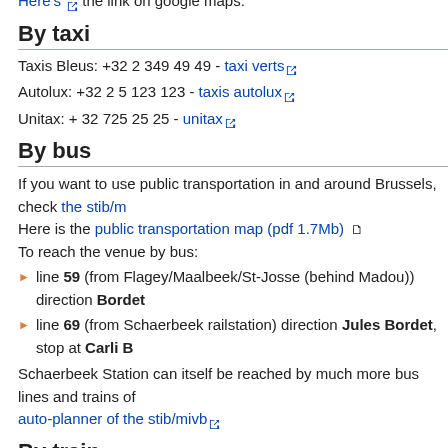Here's the link on google maps.
By taxi
Taxis Bleus: +32 2 349 49 49 - taxi verts
Autolux: +32 2 5 123 123 - taxis autolux
Unitax: + 32 725 25 25 - unitax
By bus
If you want to use public transportation in and around Brussels, check the stib/m Here is the public transportation map (pdf 1.7Mb) To reach the venue by bus:
line 59 (from Flagey/Maalbeek/St-Josse (behind Madou)) direction Bordet
line 69 (from Schaerbeek railstation) direction Jules Bordet, stop at Carli B
Schaerbeek Station can itself be reached by much more bus lines and trains of auto-planner of the stib/mivb
By train
You can check train schedules to Brussels here. Once in Brussels you can ta on same link but domestic). From the Schaarbeek station, it's a five minute walk
By plane
Our Nation Airport is located near Brussels at Zaventem and very close to the S